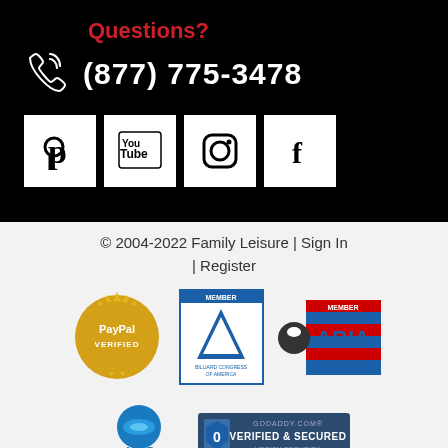Questions?
(877) 775-3478
[Figure (logo): Phone icon (white outline on black background)]
[Figure (logo): Pinterest social media icon square]
[Figure (logo): YouTube social media icon square]
[Figure (logo): Instagram social media icon square]
[Figure (logo): Facebook social media icon square]
© 2004-2022 Family Leisure | Sign In | Register
[Figure (logo): PayPal Verified gold seal badge]
[Figure (logo): Billiard Congress of America Member badge]
[Figure (logo): ABIA Member badge]
[Figure (logo): APSP The Association of Pool & Spa Professionals logo]
[Figure (logo): GoDaddy.com Verified & Secured badge]